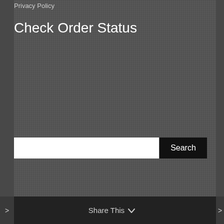Privacy Policy
Check Order Status
[Figure (screenshot): A search input field (white rectangle) with a black 'Search' button to its right, for checking order status.]
Share This